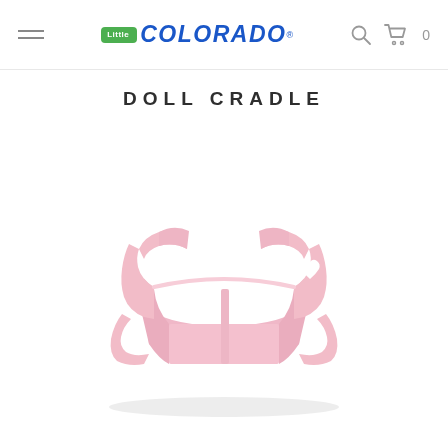Little Colorado — Doll Cradle product page header with navigation menu icon, logo, search icon, and cart icon (0 items)
DOLL CRADLE
[Figure (photo): Pink wooden doll cradle with heart-shaped cutouts on the headboard and footboard, featuring curved rocker-style feet, photographed on a white background.]